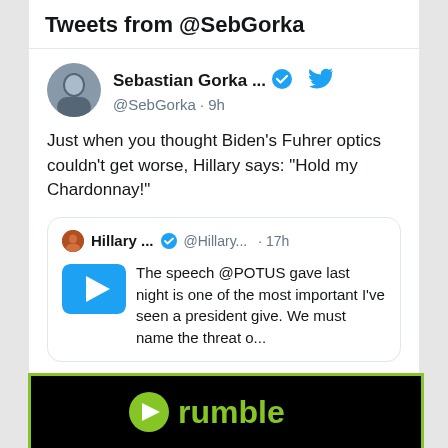Tweets from @SebGorka
[Figure (screenshot): Twitter/X tweet from Sebastian Gorka (@SebGorka, 9h ago). Verified account. Tweet text: Just when you thought Biden's Fuhrer optics couldn't get worse, Hillary says: “Hold my Chardonnay!”. Contains a quoted tweet from Hillary (@Hillary..., 17h) with a play button thumbnail: 'The speech @POTUS gave last night is one of the most important I've seen a president give. We must name the threat o...' Actions: 137 replies, 1K likes.]
[Figure (logo): Rumble logo on black background with green border]